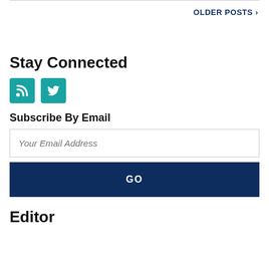OLDER POSTS >
Stay Connected
[Figure (other): RSS feed icon (teal square with RSS symbol) and Twitter icon (teal square with bird symbol)]
Subscribe By Email
Your Email Address
GO
Editor